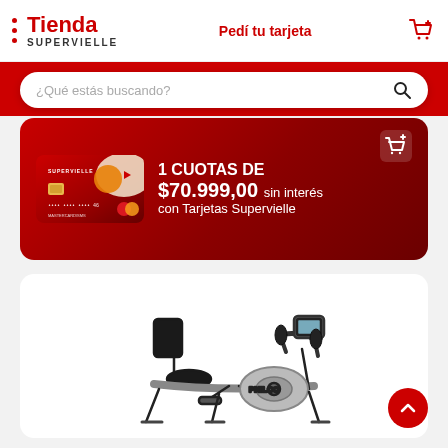Tienda SUPERVIELLE — Pedí tu tarjeta
¿Qué estás buscando?
[Figure (infographic): Promotional banner with Supervielle credit card and text: 1 CUOTAS DE $70.999,00 sin interés con Tarjetas Supervielle]
[Figure (photo): Recumbent exercise bike (Philco brand) on white background]